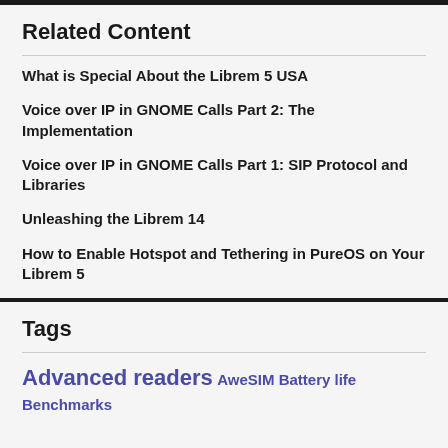Related Content
What is Special About the Librem 5 USA
Voice over IP in GNOME Calls Part 2: The Implementation
Voice over IP in GNOME Calls Part 1: SIP Protocol and Libraries
Unleashing the Librem 14
How to Enable Hotspot and Tethering in PureOS on Your Librem 5
Tags
Advanced readers AweSIM Battery life Benchmarks